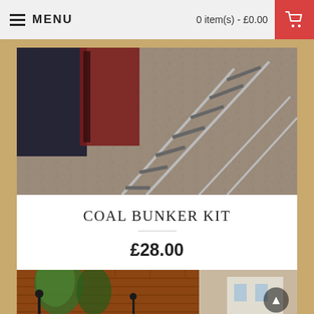MENU    0 item(s) - £0.00
[Figure (photo): Close-up photo of model railway track with gravel ballast and dark red structure in background]
COAL BUNKER KIT
£28.00
ADD TO CART
[Figure (photo): Photo of brick building exterior with green trees/shrubs and lamp posts in foreground, model railway scene]